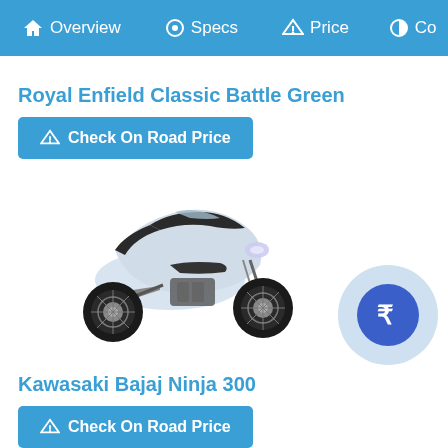Overview  Specs  Price  Co
Royal Enfield Classic Battle Green
Check On Road Price
[Figure (photo): Kawasaki Bajaj Ninja 300 motorcycle in white/light blue color, side profile view]
Kawasaki Bajaj Ninja 300
Check On Road Price